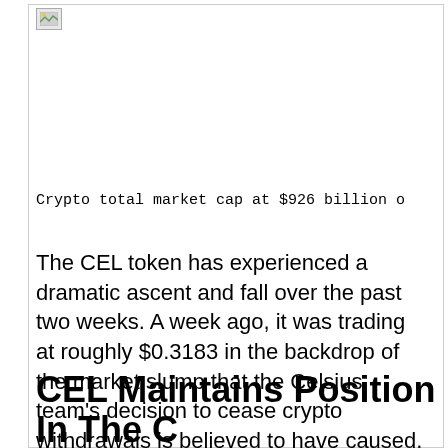[Figure (photo): Broken/placeholder image icon in top-left area]
Crypto total market cap at $926 billion o
The CEL token has experienced a dramatic ascent and fall over the past two weeks. A week ago, it was trading at roughly $0.3183 in the backdrop of the market slump that the Celsius team's decision to cease crypto withdrawals is believed to have caused.
CEL Maintains Position In The C